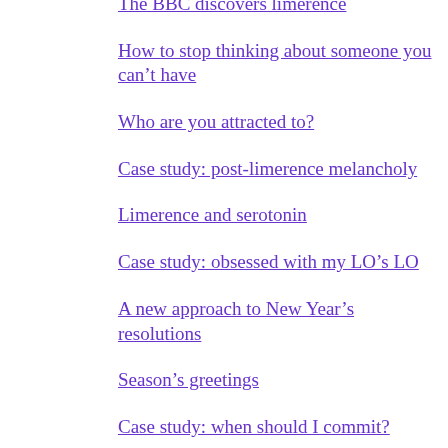The BBC discovers limerence
How to stop thinking about someone you can’t have
Who are you attracted to?
Case study: post-limerence melancholy
Limerence and serotonin
Case study: obsessed with my LO’s LO
A new approach to New Year’s resolutions
Season’s greetings
Case study: when should I commit?
The Ulysses contract